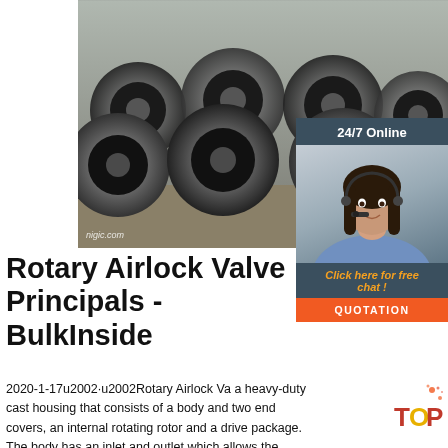[Figure (photo): Stacked metal wire rod coils / rolls photographed outdoors. Watermark 'nigic.com' bottom left.]
[Figure (photo): 24/7 Online customer support sidebar with female agent wearing headset, dark blue banner, italic 'Click here for free chat!' text, and orange QUOTATION button.]
Rotary Airlock Valve Principals - BulkInside
2020-1-17u2002·u2002Rotary Airlock Va... a heavy-duty cast housing that consists of a body and two end covers, an internal rotating rotor and a drive package. The body has an inlet and outlet which allows the material to enter and exit the valve. The rotor has a shaft with multiple vanes,
[Figure (logo): Orange and red 'TOP' logo with splatter dots, bottom right corner.]